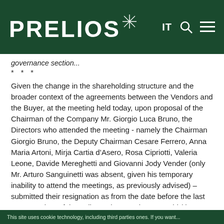PRELIOS [logo with star icon] IT [search icon] [menu icon]
governance section...
* * *
Given the change in the shareholding structure and the broader context of the agreements between the Vendors and the Buyer, at the meeting held today, upon proposal of the Chairman of the Company Mr. Giorgio Luca Bruno, the Directors who attended the meeting - namely the Chairman Giorgio Bruno, the Deputy Chairman Cesare Ferrero, Anna Maria Artoni, Mirja Cartia d’Asero, Rosa Cipriotti, Valeria Leone, Davide Mereghetti and Giovanni Jody Vender (only Mr. Arturo Sanguinetti was absent, given his temporary inability to attend the meetings, as previously advised) – submitted their resignation as from the date before the last payment date of the Full Mandatory Take-Over Bid (the “Bid”) that Lavaredo S.p.A.
This site uses cookie technology, including third parties ones. If you want...